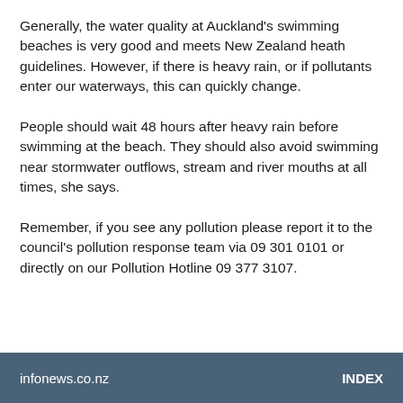Generally, the water quality at Auckland's swimming beaches is very good and meets New Zealand heath guidelines. However, if there is heavy rain, or if pollutants enter our waterways, this can quickly change.
People should wait 48 hours after heavy rain before swimming at the beach. They should also avoid swimming near stormwater outflows, stream and river mouths at all times, she says.
Remember, if you see any pollution please report it to the council's pollution response team via 09 301 0101 or directly on our Pollution Hotline 09 377 3107.
infonews.co.nz    INDEX